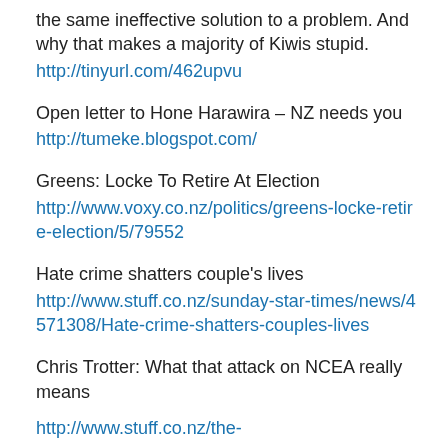the same ineffective solution to a problem. And why that makes a majority of Kiwis stupid.
http://tinyurl.com/462upvu
Open letter to Hone Harawira – NZ needs you
http://tumeke.blogspot.com/
Greens: Locke To Retire At Election
http://www.voxy.co.nz/politics/greens-locke-retire-election/5/79552
Hate crime shatters couple's lives
http://www.stuff.co.nz/sunday-star-times/news/4571308/Hate-crime-shatters-couples-lives
Chris Trotter: What that attack on NCEA really means
http://www.stuff.co.nz/the-